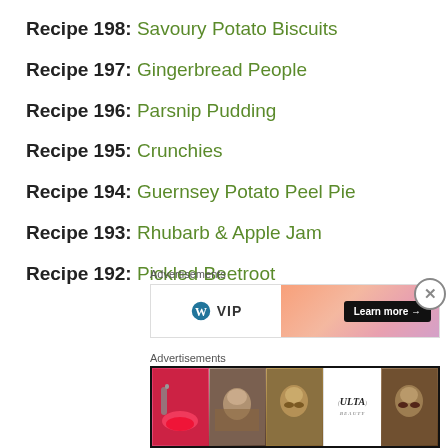Recipe 198: Savoury Potato Biscuits
Recipe 197: Gingerbread People
Recipe 196: Parsnip Pudding
Recipe 195: Crunchies
Recipe 194: Guernsey Potato Peel Pie
Recipe 193: Rhubarb & Apple Jam
Recipe 192: Pickled Beetroot
Advertisements
[Figure (other): Advertisement banner with WordPress/Vip logo on left and orange/pink gradient with Learn more button on right]
Advertisements
[Figure (other): ULTA beauty advertisement strip with cosmetics images and SHOP NOW text]